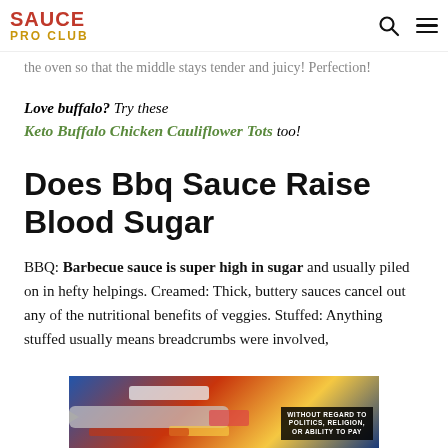SAUCE PRO CLUB
the oven so that the middle stays tender and juicy! Perfection!
Love buffalo? Try these Keto Buffalo Chicken Cauliflower Tots too!
Does Bbq Sauce Raise Blood Sugar
BBQ: Barbecue sauce is super high in sugar and usually piled on in hefty helpings. Creamed: Thick, buttery sauces cancel out any of the nutritional benefits of veggies. Stuffed: Anything stuffed usually means breadcrumbs were involved,
[Figure (photo): Advertisement banner showing an airplane being loaded with cargo, with overlay text 'WITHOUT REGARD TO POLITICS, RELIGION, OR ABILITY TO PAY']